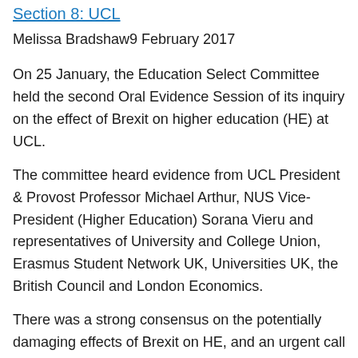Section 8: UCL
Melissa Bradshaw9 February 2017
On 25 January, the Education Select Committee held the second Oral Evidence Session of its inquiry on the effect of Brexit on higher education (HE) at UCL.
The committee heard evidence from UCL President & Provost Professor Michael Arthur, NUS Vice-President (Higher Education) Sorana Vieru and representatives of University and College Union, Erasmus Student Network UK, Universities UK, the British Council and London Economics.
There was a strong consensus on the potentially damaging effects of Brexit on HE, and an urgent call for the government to do more to address them.